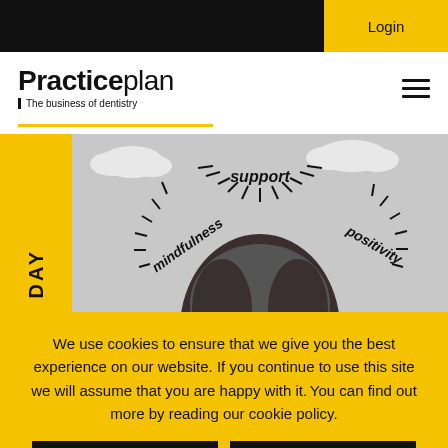Login
Practiceplan – The business of dentistry
[Figure (illustration): A greyscale illustration/photo of a person's head with words 'support', 'mindfulness', 'positivity' radiating around it with line bursts, clouds in background. Yellow sidebar with 'DAY' text rotated vertically.]
We use cookies to ensure that we give you the best experience on our website. If you continue to use this site we will assume that you are happy with it. You can find out more by reading our cookie policy.
Okay
Cookie Policy